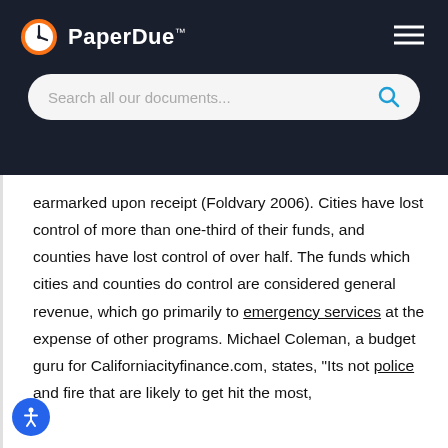PaperDue™
earmarked upon receipt (Foldvary 2006). Cities have lost control of more than one-third of their funds, and counties have lost control of over half. The funds which cities and counties do control are considered general revenue, which go primarily to emergency services at the expense of other programs. Michael Coleman, a budget guru for Californiacityfinance.com, states, "Its not police and fire that are likely to get hit the most,